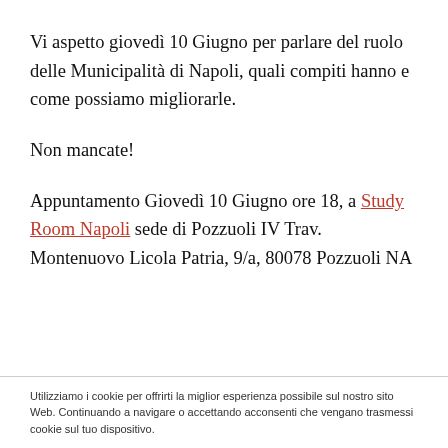Vi aspetto giovedì 10 Giugno per parlare del ruolo delle Municipalità di Napoli, quali compiti hanno e come possiamo migliorarle.
Non mancate!
Appuntamento Giovedì 10 Giugno ore 18, a Study Room Napoli sede di Pozzuoli IV Trav. Montenuovo Licola Patria, 9/a, 80078 Pozzuoli NA
Utilizziamo i cookie per offrirti la miglior esperienza possibile sul nostro sito Web. Continuando a navigare o accettando acconsenti che vengano trasmessi cookie sul tuo dispositivo.